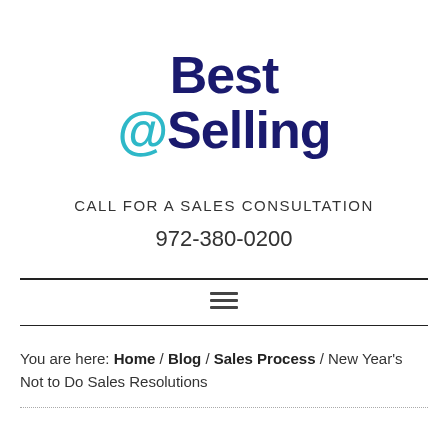[Figure (logo): Best@Selling logo with 'Best' and 'Selling' in dark navy blue, '@' in teal/cyan, large bold sans-serif font, centered]
CALL FOR A SALES CONSULTATION
972-380-0200
You are here: Home / Blog / Sales Process / New Year's Not to Do Sales Resolutions